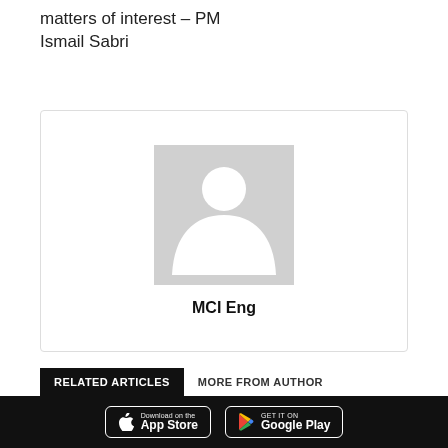matters of interest – PM Ismail Sabri
[Figure (illustration): Author card with a gray placeholder avatar icon and author name 'MCI Eng' in bold below it, inside a bordered card.]
RELATED ARTICLES
MORE FROM AUTHOR
[Figure (photo): Dark thumbnail image showing a person on stage with a blue screen background.]
Govt to review human resources, human capital policies to attract skilled
Download on the App Store  |  GET IT ON Google Play